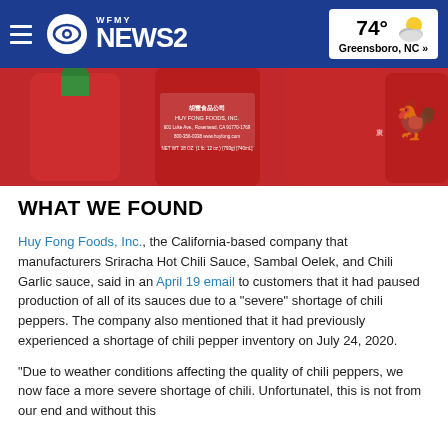WFMY NEWS 2 | 74° Greensboro, NC »
[Figure (photo): Close-up photo of Sriracha Hot Chili Sauce bottles by Huy Fong Foods, Inc., showing red bottles with Chinese characters and rooster logo]
WHAT WE FOUND
Huy Fong Foods, Inc., the California-based company that manufacturers Sriracha Hot Chili Sauce, Sambal Oelek, and Chili Garlic sauce, said in an April 19 email to customers that it had paused production of all of its sauces due to a "severe" shortage of chili peppers. The company also mentioned that it had previously experienced a shortage of chili pepper inventory on July 24, 2020.
"Due to weather conditions affecting the quality of chili peppers, we now face a more severe shortage of chili. Unfortunatel, this is not from our end and without this...